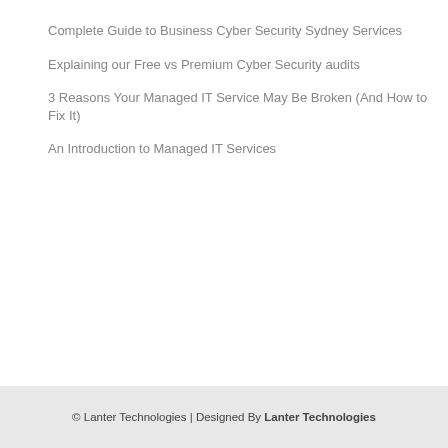Complete Guide to Business Cyber Security Sydney Services
Explaining our Free vs Premium Cyber Security audits
3 Reasons Your Managed IT Service May Be Broken (And How to Fix It)
An Introduction to Managed IT Services
Have any Questions?
CONTACT US
1300 123 101
© Lanter Technologies | Designed By Lanter Technologies